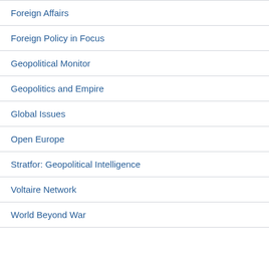Foreign Affairs
Foreign Policy in Focus
Geopolitical Monitor
Geopolitics and Empire
Global Issues
Open Europe
Stratfor: Geopolitical Intelligence
Voltaire Network
World Beyond War